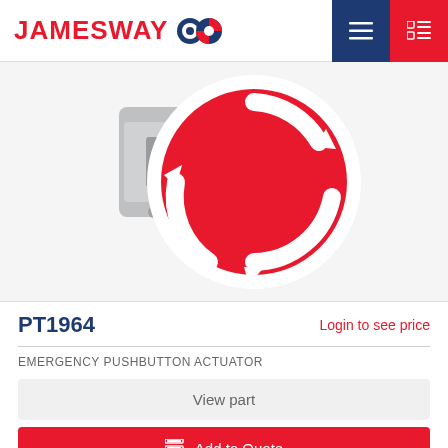JAMESWAY
[Figure (photo): Emergency pushbutton actuator - red circular mushroom head with white rotation arrows (twist-to-release), mounted on a grey plastic body]
PT1964
Login to see price
EMERGENCY PUSHBUTTON ACTUATOR
View part
Add to Quote